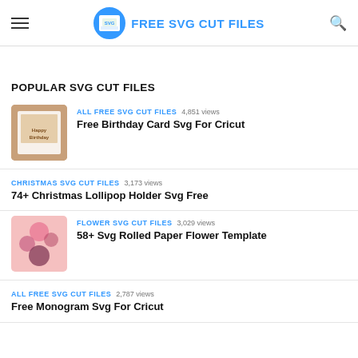FREE SVG CUT FILES
POPULAR SVG CUT FILES
ALL FREE SVG CUT FILES  4,851 views
Free Birthday Card Svg For Cricut
CHRISTMAS SVG CUT FILES  3,173 views
74+ Christmas Lollipop Holder Svg Free
FLOWER SVG CUT FILES  3,029 views
58+ Svg Rolled Paper Flower Template
ALL FREE SVG CUT FILES  2,787 views
Free Monogram Svg For Cricut